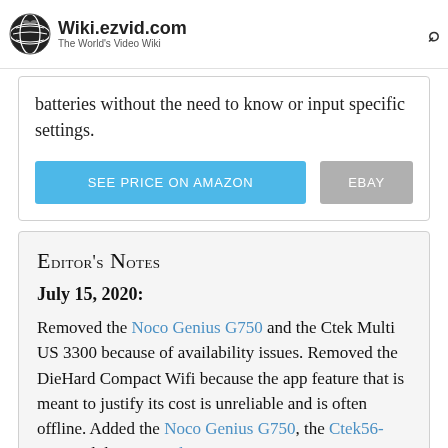Wiki.ezvid.com — The World's Video Wiki
batteries without the need to know or input specific settings.
SEE PRICE ON AMAZON | EBAY
Editor's Notes
July 15, 2020:
Removed the Noco Genius G750 and the Ctek Multi US 3300 because of availability issues. Removed the DieHard Compact Wifi because the app feature that is meant to justify its cost is unreliable and is often offline. Added the Noco Genius G750, the Ctek56-865, and the DieHard